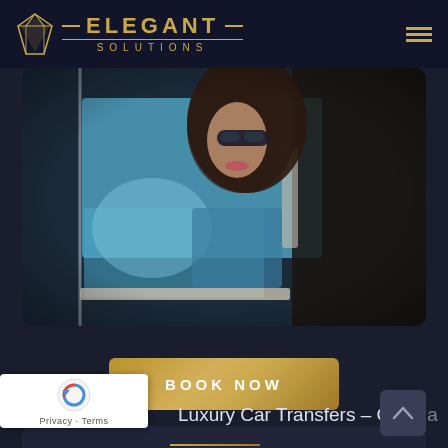[Figure (logo): Elegant Solutions logo with diamond icon and gold text]
[Figure (photo): Woman with sunglasses viewed through luxury car window, interior blue tones]
BOOK NOW
Luxury Car Transfers – Croatia
[Figure (logo): Google reCAPTCHA badge with Privacy and Terms links]